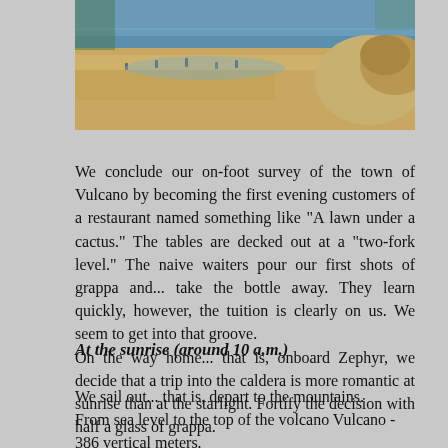[Figure (photo): A beach scene at Vulcano showing sandy terrain with people and rocky formations visible in the background, water in the distance]
We conclude our on-foot survey of the town of Vulcano by becoming the first evening customers of a restaurant named something like "A lawn under a cactus." The tables are decked out at a "two-fork level." The naive waiters pour our first shots of grappa and... take the bottle away. They learn quickly, however, the tuition is clearly on us. We seem to get into that groove.
On the way home... that is, onboard Zephyr, we decide that a trip into the caldera is more romantic at sunrise than at the starlight. Fortify the decision with half a glass of grappa.
At the sunrise (around 10 a.m.)
We sail out... that is, depart to the mountains.
From sea level to the top of the volcano Vulcano - 386 vertical meters.